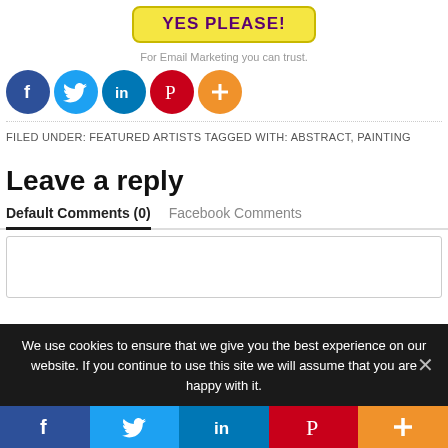[Figure (other): Yellow button with text YES PLEASE! in purple bold uppercase letters]
For Email Marketing you can trust.
[Figure (other): Row of 5 social media icons: Facebook (dark blue circle with f), Twitter (light blue circle with bird), LinkedIn (teal circle with in), Pinterest (red circle with P), More/Plus (orange circle with +)]
FILED UNDER: FEATURED ARTISTS TAGGED WITH: ABSTRACT, PAINTING
Leave a reply
Default Comments (0)   Facebook Comments
We use cookies to ensure that we give you the best experience on our website. If you continue to use this site we will assume that you are happy with it.
[Figure (other): Bottom social sharing bar with 5 colored sections: Facebook (dark blue, f icon), Twitter (light blue, bird icon), LinkedIn (medium blue, in icon), Pinterest (red, P icon), More (orange, + icon)]